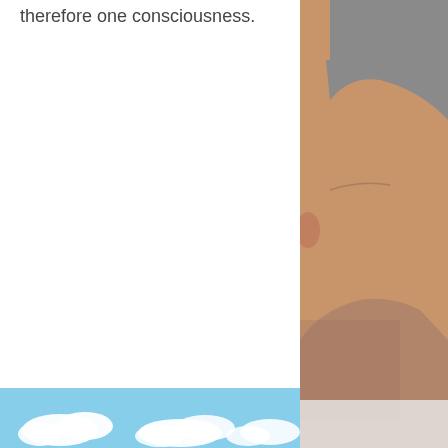therefore one consciousness.
Over the next few weeks, Watch out as I share in social media an incredible project, that has been taking place behind the scenes and will soon be revealed in all of its beautiful universal connection.
[Figure (photo): Close-up side profile of a man's face and neck, showing grey stubble beard and short grey hair against a blurred background with blue tones.]
[Figure (photo): Blue sky with white clouds visible at the bottom of the page.]